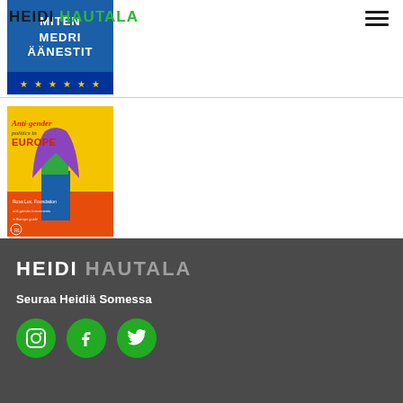HEIDI HAUTALA
[Figure (illustration): Partial view of a blue campaign poster with text 'MITEN MEDRI ÄÄNESTIT' and stars at bottom, for Heidi Hautala]
[Figure (illustration): Book/report cover 'Anti-gender politics in EUROPE' showing a woman with long purple hair wearing a green top and blue jeans on a yellow background]
HEIDI HAUTALA
Seuraa Heidiä Somessa
[Figure (other): Social media icons: Instagram, Facebook, Twitter on green circular backgrounds]